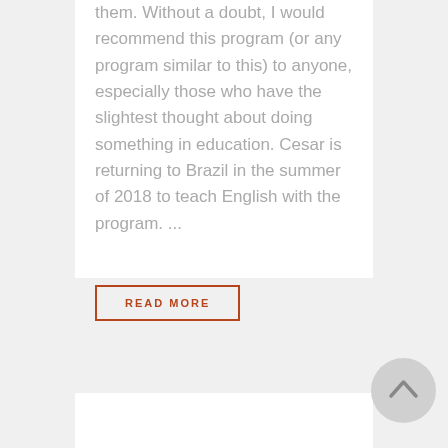them. Without a doubt, I would recommend this program (or any program similar to this) to anyone, especially those who have the slightest thought about doing something in education. Cesar is returning to Brazil in the summer of 2018 to teach English with the program. ...
READ MORE
[Figure (other): Scroll-to-top button: circular grey button with upward-pointing arrow chevron]